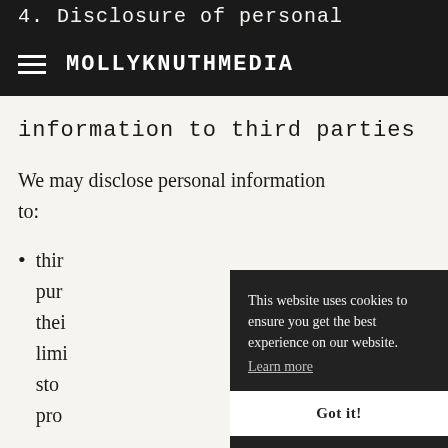4. Disclosure of personal
MOLLYKNUTHMEDIA
information to third parties
We may disclose personal information to:
third ... pur... thei... limi... sto... pro...
This website uses cookies to ensure you get the best experience on our website. Learn more Got it!